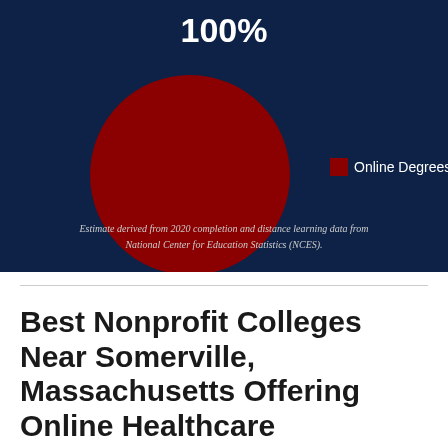[Figure (pie-chart): 100%]
Estimate derived from 2020 completion and distance learning data from National Center for Education Statistics (NCES).
Best Nonprofit Colleges Near Somerville, Massachusetts Offering Online Healthcare Administration Master...